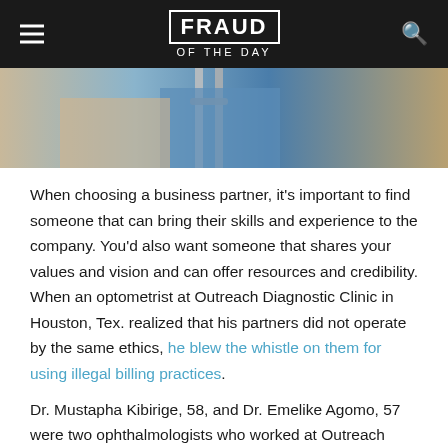FRAUD OF THE DAY
[Figure (photo): Close-up photo of a person using metal crutches, wearing blue medical scrubs, with a blurred background.]
When choosing a business partner, it's important to find someone that can bring their skills and experience to the company. You'd also want someone that shares your values and vision and can offer resources and credibility. When an optometrist at Outreach Diagnostic Clinic in Houston, Tex. realized that his partners did not operate by the same ethics, he blew the whistle on them for using illegal billing practices.
Dr. Mustapha Kibirige, 58, and Dr. Emelike Agomo, 57 were two ophthalmologists who worked at Outreach Diagnostic Clinic, providing care for patients diagnosed with glaucoma. The two doctors allegedly fraudulently billed the Medicare